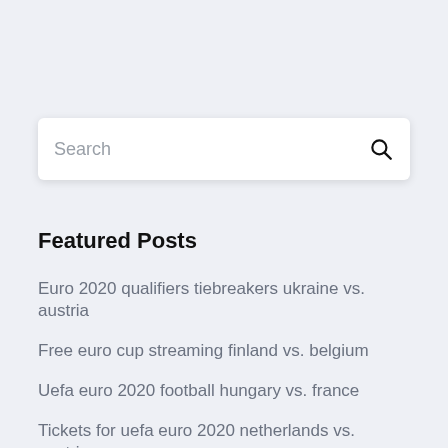[Figure (screenshot): Search input box with placeholder text 'Search' and a magnifying glass icon on the right]
Featured Posts
Euro 2020 qualifiers tiebreakers ukraine vs. austria
Free euro cup streaming finland vs. belgium
Uefa euro 2020 football hungary vs. france
Tickets for uefa euro 2020 netherlands vs. austria
Euro 2020 spareggio percorso a france vs. germany